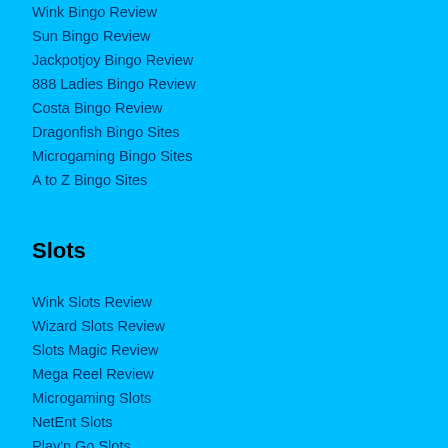Wink Bingo Review
Sun Bingo Review
Jackpotjoy Bingo Review
888 Ladies Bingo Review
Costa Bingo Review
Dragonfish Bingo Sites
Microgaming Bingo Sites
A to Z Bingo Sites
Slots
Wink Slots Review
Wizard Slots Review
Slots Magic Review
Mega Reel Review
Microgaming Slots
NetEnt Slots
Play'n Go Slots
IGT Slots